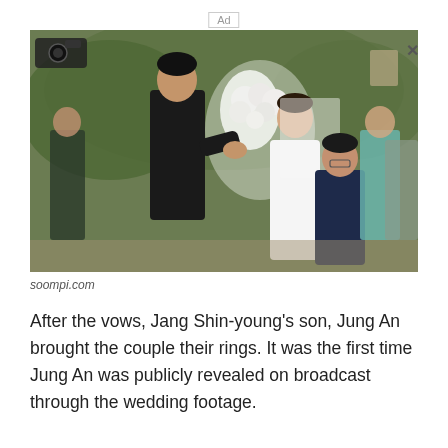Ad
[Figure (photo): Outdoor wedding ceremony scene showing a groom in a black suit, a bride in a white wedding dress with veil standing near white floral arrangement, and a young boy in a dark suit facing the groom. Other wedding guests visible in background among green trees.]
soompi.com
After the vows, Jang Shin-young's son, Jung An brought the couple their rings. It was the first time Jung An was publicly revealed on broadcast through the wedding footage.